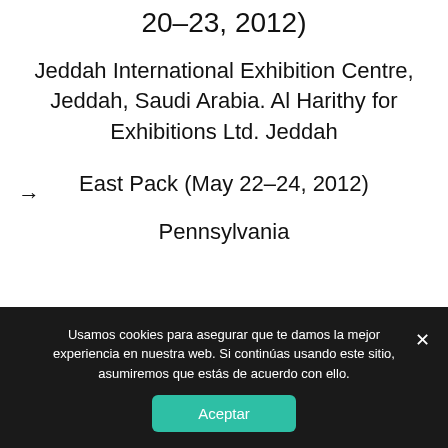20-23, 2012)
Jeddah International Exhibition Centre, Jeddah, Saudi Arabia. Al Harithy for Exhibitions Ltd. Jeddah
→ East Pack (May 22-24, 2012)
Pennsylvania
Usamos cookies para asegurar que te damos la mejor experiencia en nuestra web. Si continúas usando este sitio, asumiremos que estás de acuerdo con ello.